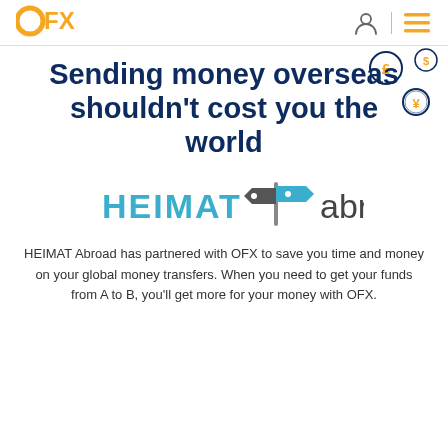[Figure (logo): OFX logo in orange with stylized O and FX text]
[Figure (illustration): Currency coin icons: pound sterling, dollar, and yen floating around the title]
Sending money overseas shouldn't cost you the world
[Figure (logo): HEIMAT abroad logo with directional signpost icon, HEIMAT in teal/blue and abroad in dark gray]
HEIMAT Abroad has partnered with OFX to save you time and money on your global money transfers. When you need to get your funds from A to B, you'll get more for your money with OFX.